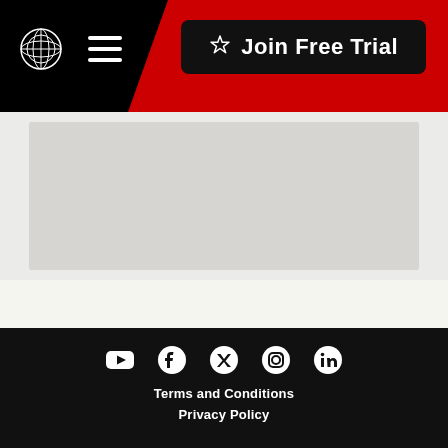Navigation header with logo, hamburger menu, and Join Free Trial button
[Figure (map): Embedded map area showing a light grey map background]
Social media icons (YouTube, Facebook, Twitter, Instagram, LinkedIn), Terms and Conditions, Privacy Policy